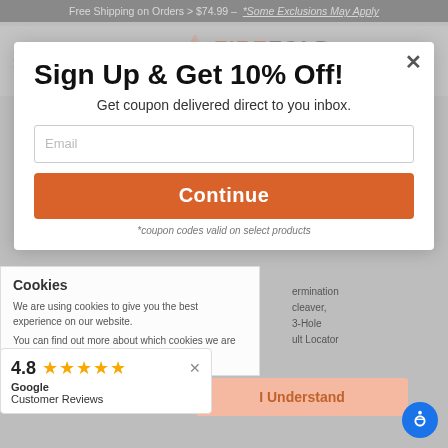Free Shipping on Orders > $74.99 - *Some Exclusions May Apply
[Figure (logo): FireFold logo with flame icon and tagline 'Your Trusted Technology Source']
Search by Product, SKU, Keyword
Sign Up & Get 10% Off!
Get coupon delivered direct to you inbox.
Email
Continue
*coupon codes valid on select products
Cookies
We are using cookies to give you the best experience on our website.
You can find out more about which cookies we are using by reading our Privacy Policy
I Understand
4.8 ★★★★★
Google
Customer Reviews